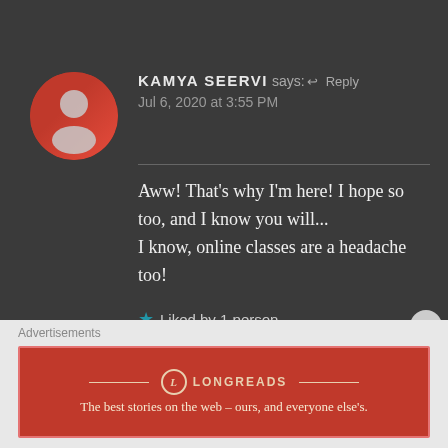KAMYA SEERVI says: Reply
Jul 6, 2020 at 3:55 PM
Aww! That’s why I’m here! I hope so too, and I know you will...
I know, online classes are a headache too!
★ Liked by 1 person
Advertisements
LONGREADS
The best stories on the web – ours, and everyone else’s.